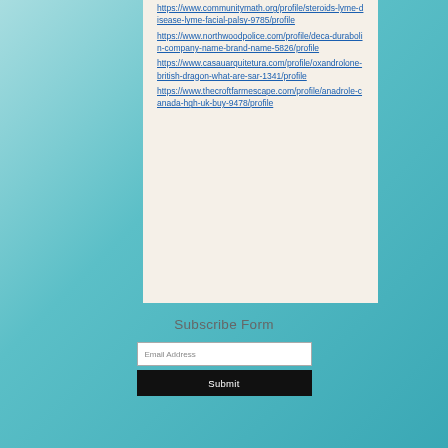https://www.communitymath.org/profile/steroids-lyme-disease-lyme-facial-palsy-9785/profile
https://www.northwoodpolice.com/profile/deca-durabolin-company-name-brand-name-5826/profile
https://www.casauarquitetura.com/profile/oxandrolone-british-dragon-what-are-sar-1341/profile
https://www.thecroftfarmescape.com/profile/anadrole-canada-hgh-uk-buy-9478/profile
Subscribe Form
Email Address
Submit